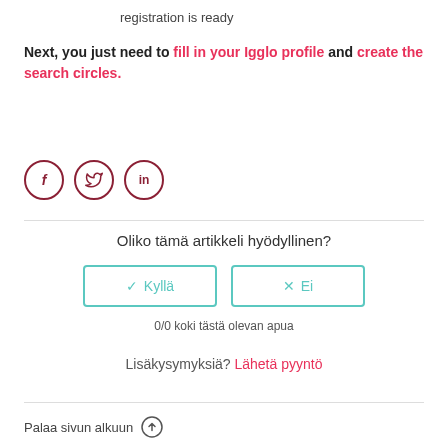registration is ready
Next, you just need to fill in your Igglo profile and create the search circles.
[Figure (illustration): Three social media icons in circles: Facebook (f), Twitter (bird), LinkedIn (in)]
Oliko tämä artikkeli hyödyllinen?
Kyllä / Ei buttons
0/0 koki tästä olevan apua
Lisäkysymyksiä? Lähetä pyyntö
Palaa sivun alkuun ↑